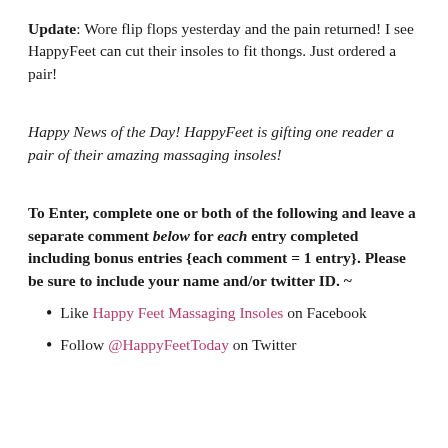Update: Wore flip flops yesterday and the pain returned! I see HappyFeet can cut their insoles to fit thongs. Just ordered a pair!
Happy News of the Day! HappyFeet is gifting one reader a pair of their amazing massaging insoles!
To Enter, complete one or both of the following and leave a separate comment below for each entry completed including bonus entries {each comment = 1 entry}. Please be sure to include your name and/or twitter ID. ~
Like Happy Feet Massaging Insoles on Facebook
Follow @HappyFeetToday on Twitter